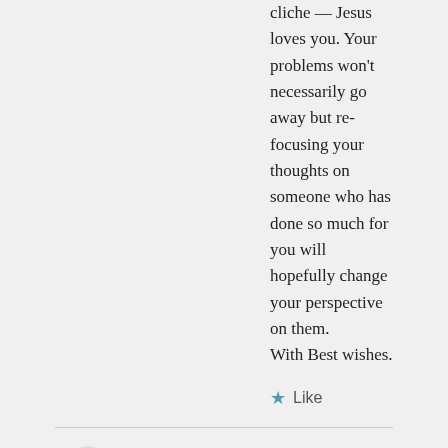cliche — Jesus loves you. Your problems won't necessarily go away but re-focusing your thoughts on someone who has done so much for you will hopefully change your perspective on them.
With Best wishes.
★ Like
O on March 17, 2018 at 5:03 pm
Dear Ladycee,

Thank you for your words of wisdom! And, I do hope that you continue to use the very precious